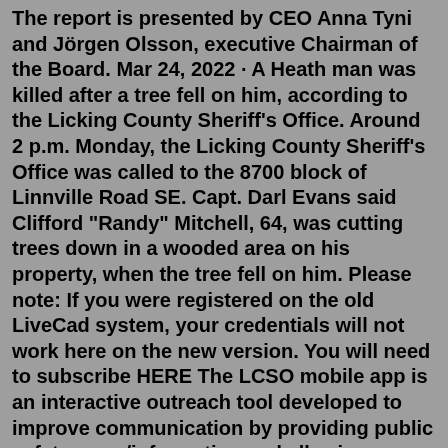The report is presented by CEO Anna Tyni and Jörgen Olsson, executive Chairman of the Board. Mar 24, 2022 · A Heath man was killed after a tree fell on him, according to the Licking County Sheriff's Office. Around 2 p.m. Monday, the Licking County Sheriff's Office was called to the 8700 block of Linnville Road SE. Capt. Darl Evans said Clifford "Randy" Mitchell, 64, was cutting trees down in a wooded area on his property, when the tree fell on him. Please note: If you were registered on the old LiveCad system, your credentials will not work here on the new version. You will need to subscribe HERE The LCSO mobile app is an interactive outreach tool developed to improve communication by providing public safety news/information and allowing citizens to report crimes and submit tips. Do not use for emergency situations, call 911. Licking County Sheriff's Department (Justice Center) 155 East Main Street, Newark, OH 43055. The General Information phone number is 740-670-5508. Starting August 25th,